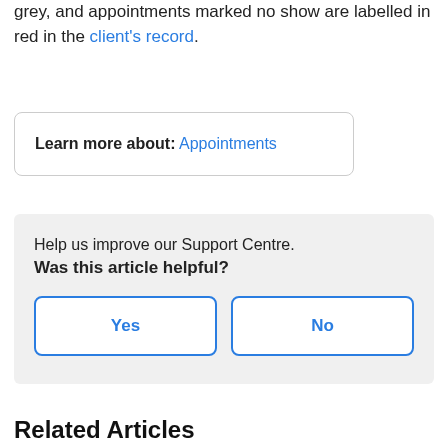grey, and appointments marked no show are labelled in red in the client's record.
Learn more about: Appointments
Help us improve our Support Centre. Was this article helpful?
Yes
No
Related Articles